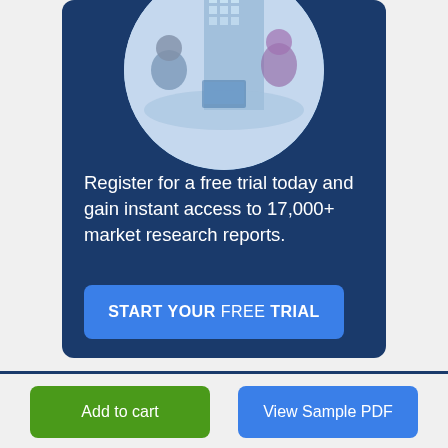[Figure (photo): Circular cropped photo of business meeting scene with people at a table, blue-toned image]
Register for a free trial today and gain instant access to 17,000+ market research reports.
START YOUR FREE TRIAL
Add to cart
View Sample PDF